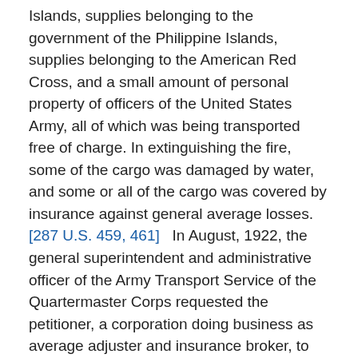Islands, supplies belonging to the government of the Philippine Islands, supplies belonging to the American Red Cross, and a small amount of personal property of officers of the United States Army, all of which was being transported free of charge. In extinguishing the fire, some of the cargo was damaged by water, and some or all of the cargo was covered by insurance against general average losses. [287 U.S. 459, 461]   In August, 1922, the general superintendent and administrative officer of the Army Transport Service of the Quartermaster Corps requested the petitioner, a corporation doing business as average adjuster and insurance broker, to prepare 'a statement of general average in order that the responsibility of the various parties concerned may be determined.' Attached to this request was a communication from the Acting Judge Advocate General of the United States to the Quartermaster General which referred to the claim of the marine underwriters for contribution in general average, and stated: 'The claim being